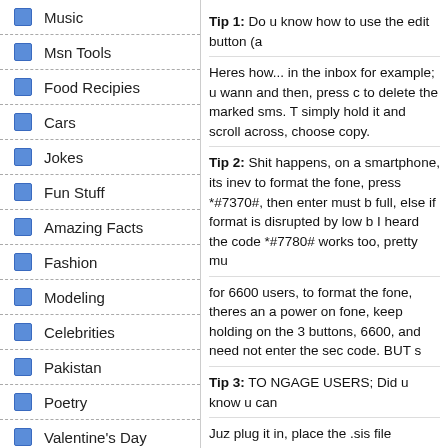Music
Msn Tools
Food Recipies
Cars
Jokes
Fun Stuff
Amazing Facts
Fashion
Modeling
Celebrities
Pakistan
Poetry
Valentine's Day
Forums
Wallpapers
Cool Stuff
Funny Pictucs
Tip 1: Do u know how to use the edit button (a
Heres how... in the inbox for example; u wann and then, press c to delete the marked sms. T simply hold it and scroll across, choose copy.
Tip 2: Shit happens, on a smartphone, its inev to format the fone, press *#7370#, then enter must b full, else if format is disrupted by low b I heard the code *#7780# works too, pretty mu
for 6600 users, to format the fone, theres an a power on fone, keep holding on the 3 buttons, 6600, and need not enter the sec code. BUT s
Tip 3: TO NGAGE USERS; Did u know u can
Juz plug it in, place the .sis file anywhere on e for it in manager.
Tip 4: Save on battery and system memory be accessed by holding down the menu button!!
Tip 6: Type *#0000# to view which firmware v
Tip 4a: Set the screen saver to a short time o
Tip 4b: Avoid restarting the phone, or repeate
Tip 7: If you would like to avoid being "blue ja hidden.
Tip 8: Don't want to carry a watch and a phon ditch the watch.